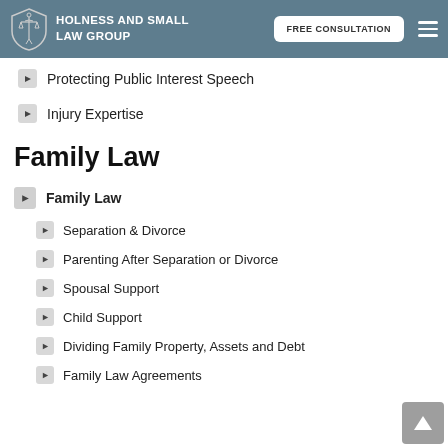HOLNESS AND SMALL LAW GROUP
Protecting Public Interest Speech
Injury Expertise
Family Law
Family Law
Separation & Divorce
Parenting After Separation or Divorce
Spousal Support
Child Support
Dividing Family Property, Assets and Debt
Family Law Agreements